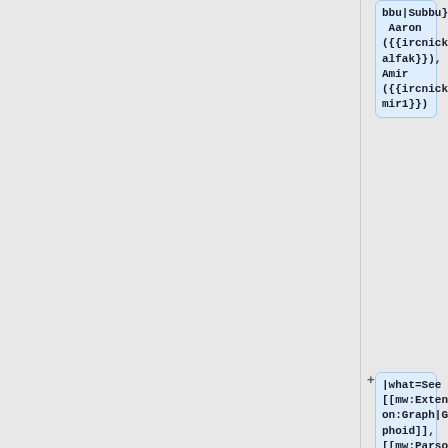bbu|Subbu}}, Aaron ({{ircnick|halfak}}), Amir ({{ircnick|Amir1}})
|what=See [[mw:Extension:Graph|Graphoid]], [[mw:Parsoid/Deployments]], [[OCG/Deployments]]
}}|
{{#invoke:De